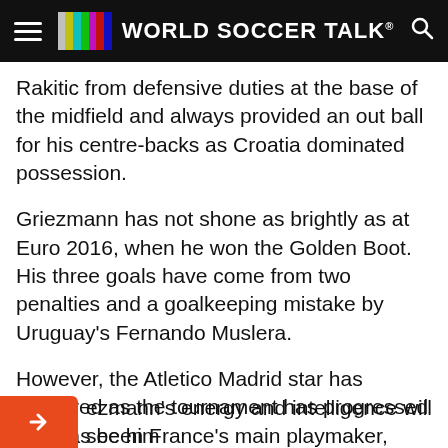WORLD SOCCER TALK
Rakitic from defensive duties at the base of the midfield and always provided an out ball for his centre-backs as Croatia dominated possession.
Griezmann has not shone as brightly as at Euro 2016, when he won the Golden Boot. His three goals have come from two penalties and a goalkeeping mistake by Uruguay's Fernando Muslera.
However, the Atletico Madrid star has improved as the tournament has progressed and has been France's main playmaker, providing the assists for Varane's and Samuel Umtiti's goals in the quarter-finals and semi-finals.
…ezmann's energy and intelligence will see him